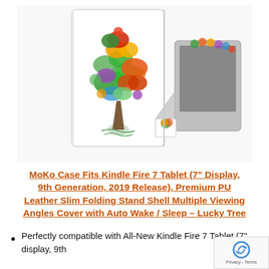[Figure (photo): Product photo showing a tablet case with colorful painted tree design on white background. Two views: front of case closed showing the full-color tree illustration, and back view showing the case opened as a stand with the tablet screen visible.]
MoKo Case Fits Kindle Fire 7 Tablet (7" Display, 9th Generation, 2019 Release), Premium PU Leather Slim Folding Stand Shell Multiple Viewing Angles Cover with Auto Wake / Sleep – Lucky Tree
Perfectly compatible with All-New Kindle Fire 7 Tablet (7" display, 9th